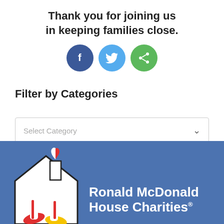Thank you for joining us in keeping families close.
[Figure (illustration): Three social media share buttons: Facebook (dark blue circle with 'f'), Twitter (light blue circle with bird icon), and a general share button (green circle with share icon)]
Filter by Categories
[Figure (screenshot): A dropdown select box labeled 'Select Category' with a chevron arrow on the right]
[Figure (logo): Ronald McDonald House Charities logo on a blue background with the RMHC illustrated mascot house figure on the left]